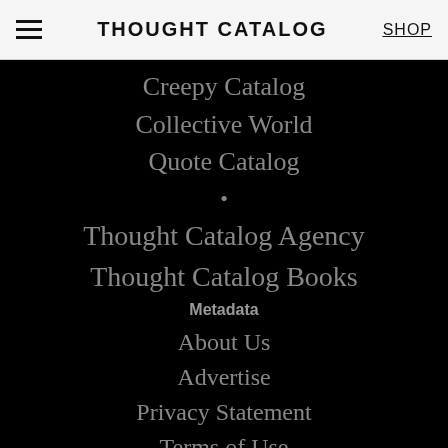THOUGHT CATALOG | SHOP
Creepy Catalog
Collective World
Quote Catalog
•
Thought Catalog Agency
Thought Catalog Books
Metadata
About Us
Advertise
Privacy Statement
Terms of Use